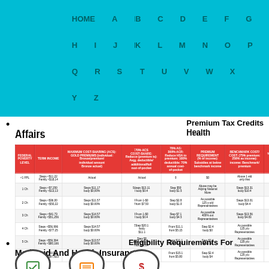HOME  A  B  C  D  E  F  G
H  I  J  K  L  M  N  O  P
Q  R  S  T  U  V  W  X
Y  Z
Premium Tax Credits Health Affairs
| FEDERAL POVERTY LEVEL | TERM INCOME | MAXIMUM COST-SHARING (ACA): GOLD PREMIUMS (individual: Bronze/premium/individual amount) | 70% ACS COST-SHARE: Reduce (premium is): Avg deductible/additional/full out-of-pocket | 70% AG: 300% ACR: Reduce HSA to premium: 100% deductible: 70% of annual cost-of-pocket | PREMIUM REQUIREMENT (% of income): Subsidies at below benchmark income | BENCHMARK COST/COST: (75% premium: 250% as income): income: Benchmark/premium | % BENCHMARK COST FOR PLAN |
| --- | --- | --- | --- | --- | --- | --- | --- |
| <1 FPL | Steps <$11,22
Family <$18,14 | Actual | Actual | 0 | $0 | Above 1 eld
only that | 0% |
| 1 Ch | Steps <$7,250
Family <$13,13 | Steps $11,17
body $0,00% | Steps $13.11
body $0.4 | Step $50
body $1.5 | Above may be
Atlying National
More | Steps $13.31
body $10.4 | 4% |
| 2 Ch | Steps <$36,00
Family <$50,22 | Steps $11.57
body $0.00% | From 1-$0
from $7.50 | Step $2.8
body $1.0 | As possible
125 y-old
Representatives | Steps $13.01
body $4.4 | 1% |
| 3 Ch | Steps <$41.73
Family <$51,256 | Steps $14.57
body $0.00% | From 1-$0
body $0.4 | Step $7.1
body $4.5 | As possible
400% out
Representatives | Steps $13.56
body $4.83 | 4% |
| 4 Ch | Steps <$56,996
Family <$77.25 | Steps $14.57
body $0.00% | Step $20.1
body
$11.1 | From $11.1
from $5.15 | Step $2.4
body $0 | As possible
125 y/o
Representatives | Steps $13.56
body $4.55 | 4% |
| 5 Ch | Steps <$59,394
Family <$80,166 | Steps $13.57
body $0.00% | Step $0
body $21.04
not $71.04 | From $11.1
from $5.468 | Step $2.4
body $6 | As possible
125 y/o
Representatives | Step $4.87
body $4.13 | 7% |
| 6 Ch | Steps <$9,060
Family <$97,823 | Steps $13.57
body $0.00% | Step $0
body $1.71 | From $15.1
from $5.80 | Step $2.4
body $4 | As possible
125 y/o
Representatives | Step $4.67
body $3.63 | 7% |
Eligibility Requirements For Medicaid And Health Insurance
[Figure (illustration): Three oval icons representing health insurance/medicaid eligibility categories]